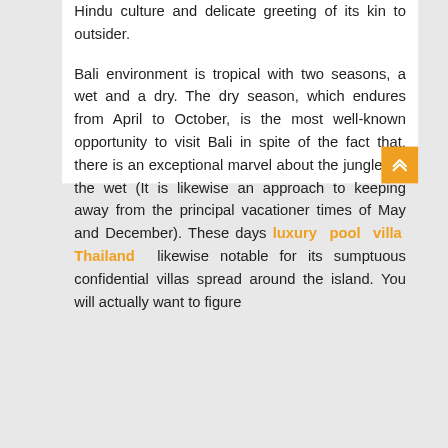Hindu culture and delicate greeting of its kin to outsider.

Bali environment is tropical with two seasons, a wet and a dry. The dry season, which endures from April to October, is the most well-known opportunity to visit Bali in spite of the fact that, there is an exceptional marvel about the jungles in the wet (It is likewise an approach to keeping away from the principal vacationer times of May and December). These days luxury pool villa Thailand likewise notable for its sumptuous confidential villas spread around the island. You will actually want to figure